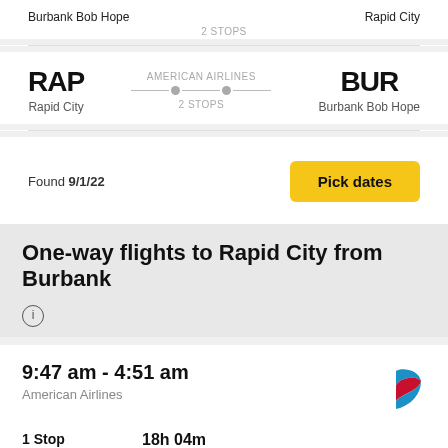Burbank Bob Hope
2 STOPS
Rapid City
RAP / Rapid City — AMERICAN AIRLINES — 2 STOPS — BUR / Burbank Bob Hope
Found 9/1/22
Pick dates
One-way flights to Rapid City from Burbank
9:47 am - 4:51 am
American Airlines
1 Stop
18h 04m
BUR - RAP
$275